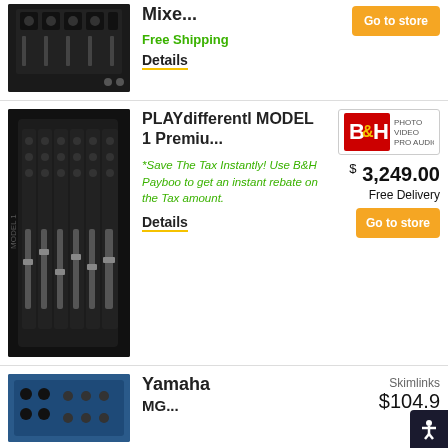[Figure (photo): Top portion of a mixer product image (partially visible)]
Mixe...
Free Shipping
Details
[Figure (photo): PLAYdifferently MODEL 1 mixer product image]
PLAYdifferently MODEL 1 Premiu...
[Figure (logo): B&H Photo Video Pro Audio logo]
$3,249.00
Free Delivery
Go to store
*Save The Tax Instantly! Use B&H Payboo to get an instant rebate on the Tax amount.
Details
[Figure (photo): Yamaha mixer product image (partially visible)]
Yamaha
Skimlinks
$104.9